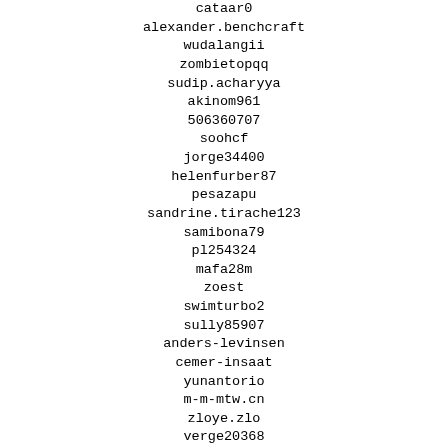cataar0
alexander.benchcraft
wudalangii
zombietopqq
sudip.acharyya
akinom961
506360707
soohcf
jorge34400
helenfurber87
pesazapu
sandrine.tirache123
samibona79
pl254324
mafa28m
zoest
swimturbo2
sully85907
anders-levinsen
cemer-insaat
yunantorio
m-m-mtw.cn
zloye.zlo
verge20368
darwin87486
zerk43160
tubapuro
birian1
tonio6459
martinstass.com